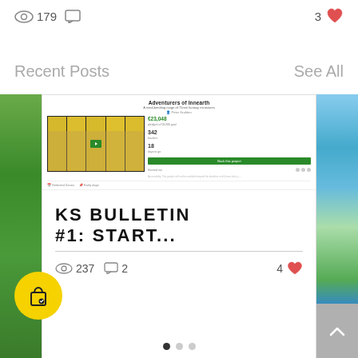179 views, 0 comments, 3 likes
Recent Posts
See All
[Figure (screenshot): Social media / blog post card showing a Kickstarter page for 'Adventurers of Innearth' with miniature figurines on yellow background, stats showing €23,048 raised, 342 backers, 18 days to go. Large text reads 'KS BULLETIN #1: START...' with 237 views, 2 comments, 4 likes.]
[Figure (photo): Partial image of a green sports field on the left edge]
[Figure (photo): Partial image of a blue/green outdoor scene on the right edge]